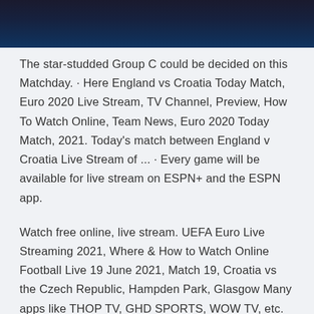[Figure (photo): Dark night sky or stadium image cropped at top of page]
The star-studded Group C could be decided on this Matchday. · Here England vs Croatia Today Match, Euro 2020 Live Stream, TV Channel, Preview, How To Watch Online, Team News, Euro 2020 Today Match, 2021. Today's match between England v Croatia Live Stream of ... · Every game will be available for live stream on ESPN+ and the ESPN app.
Watch free online, live stream. UEFA Euro Live Streaming 2021, Where & How to Watch Online Football Live 19 June 2021, Match 19, Croatia vs the Czech Republic, Hampden Park, Glasgow Many apps like THOP TV, GHD SPORTS, WOW TV, etc. will also broadcast .